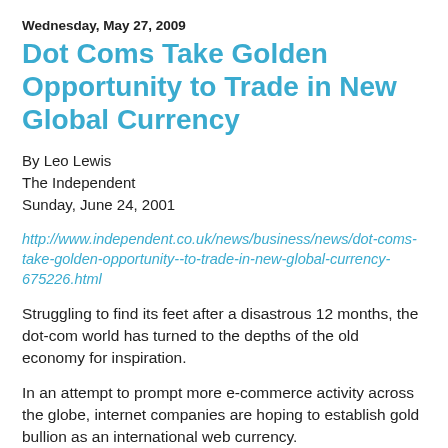Wednesday, May 27, 2009
Dot Coms Take Golden Opportunity to Trade in New Global Currency
By Leo Lewis
The Independent
Sunday, June 24, 2001
http://www.independent.co.uk/news/business/news/dot-coms-take-golden-opportunity--to-trade-in-new-global-currency-675226.html
Struggling to find its feet after a disastrous 12 months, the dot-com world has turned to the depths of the old economy for inspiration.
In an attempt to prompt more e-commerce activity across the globe, internet companies are hoping to establish gold bullion as an international web currency.
The idea, which was first devised about six months ago, has finally started to blossom. A variety of gold-based "currency"